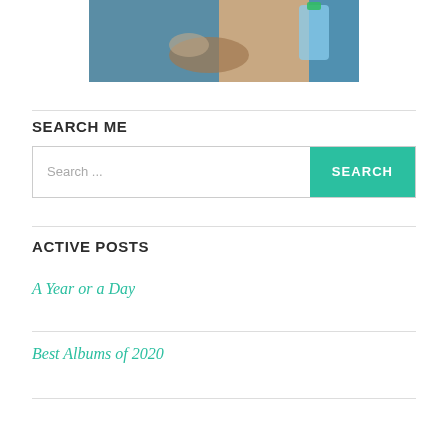[Figure (photo): Cropped photo showing elderly hands resting near a dog and a plastic water bottle]
SEARCH ME
Search ... SEARCH
ACTIVE POSTS
A Year or a Day
Best Albums of 2020